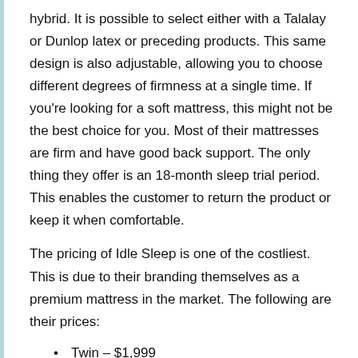hybrid. It is possible to select either with a Talalay or Dunlop latex or preceding products. This same design is also adjustable, allowing you to choose different degrees of firmness at a single time. If you're looking for a soft mattress, this might not be the best choice for you. Most of their mattresses are firm and have good back support. The only thing they offer is an 18-month sleep trial period. This enables the customer to return the product or keep it when comfortable.
The pricing of Idle Sleep is one of the costliest. This is due to their branding themselves as a premium mattress in the market. The following are their prices:
Twin – $1,999
Twin XL – $2099
Full – $2,799
Queen – $3,099
King – $3,799